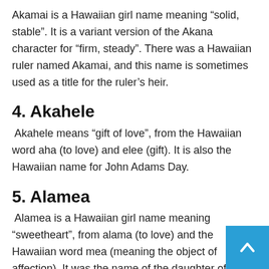Akamai is a Hawaiian girl name meaning “solid, stable”. It is a variant version of the Akana character for “firm, steady”. There was a Hawaiian ruler named Akamai, and this name is sometimes used as a title for the ruler’s heir.
4. Akahele
Akahele means “gift of love”, from the Hawaiian word aha (to love) and elee (gift). It is also the Hawaiian name for John Adams Day.
5. Alamea
Alamea is a Hawaiian girl name meaning “sweetheart”, from alama (to love) and the Hawaiian word mea (meaning the object of affection). It was the name of the daughter of